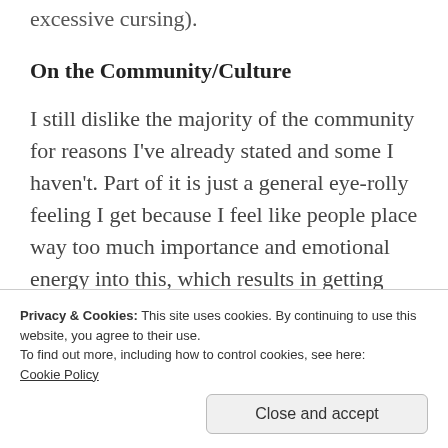excessive cursing).
On the Community/Culture
I still dislike the majority of the community for reasons I've already stated and some I haven't. Part of it is just a general eye-rolly feeling I get because I feel like people place way too much importance and emotional energy into this, which results in getting angry at others or yourself for genuine mistakes/things out of your control. It results in a culture that prizes talent,
Privacy & Cookies: This site uses cookies. By continuing to use this website, you agree to their use.
To find out more, including how to control cookies, see here:
Cookie Policy
like you, trying just as hard, who want to win just